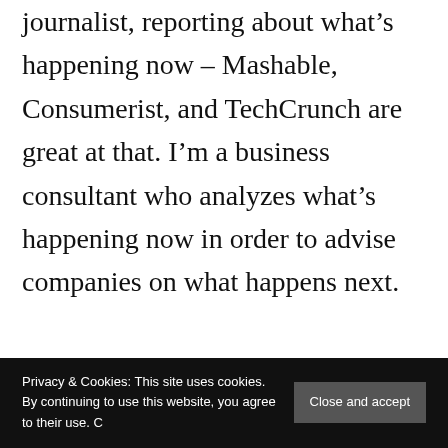journalist, reporting about what's happening now – Mashable, Consumerist, and TechCrunch are great at that. I'm a business consultant who analyzes what's happening now in order to advise companies on what happens next.

But style matters too. A lesson I learned the hard way years ago was that often perception
Privacy & Cookies: This site uses cookies. By continuing to use this website, you agree to their use. Close and accept